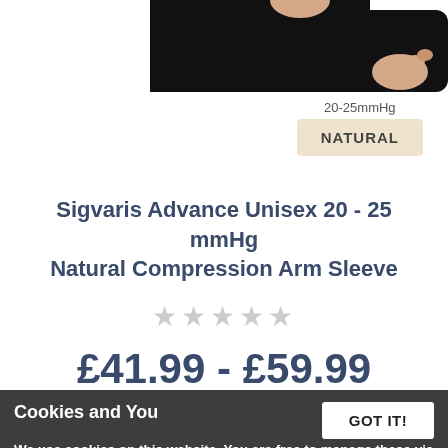[Figure (photo): Partial view of a person wearing a black compression arm sleeve, showing torso and one arm with hand visible at right, cropped at top of page.]
20-25mmHg
NATURAL
Sigvaris Advance Unisex 20 - 25 mmHg Natural Compression Arm Sleeve
★★★★★ (empty stars rating)
£41.99 - £59.99
Discreet compression sleeve for the arm
Designed to effectively...
Cookies and You
We use cookies on this website. You are free to manage these via your browser settings at any time. For more about how we use cookies, please see our Cookie Policy.
GOT IT!
in either black or beige